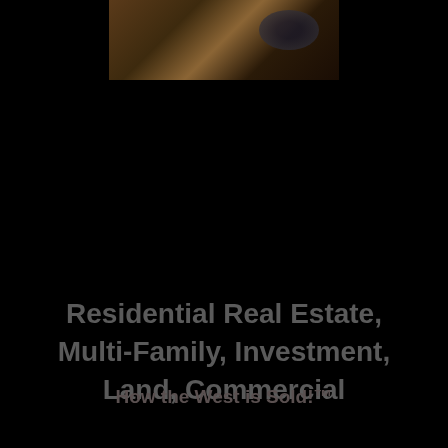[Figure (photo): Partial landscape/nature photograph showing brownish earth tones and dark tree silhouettes against a dark sky, cropped at top of page]
Residential Real Estate, Multi-Family, Investment, Land, Commercial
How the West is Sold!™